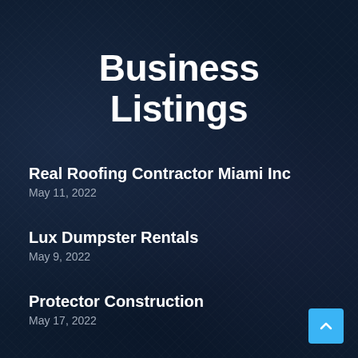Business Listings
Real Roofing Contractor Miami Inc
May 11, 2022
Lux Dumpster Rentals
May 9, 2022
Protector Construction
May 17, 2022